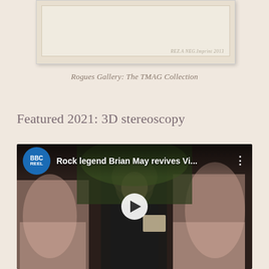[Figure (photo): Partial view of a photographic card or stereoscopic card with cream/beige coloring, shown against a warm beige background. Card appears to have faint text in the lower right area.]
Rogues Gallery: The TMAG Collection
Featured 2021: 3D stereoscopy
[Figure (screenshot): BBC Reel video thumbnail showing Brian May standing in front of Victorian-era style paintings of women in pink dresses. The video title reads 'Rock legend Brian May revives Vi...' with a play button in the center. BBC Reel logo shown as blue circle in top left.]